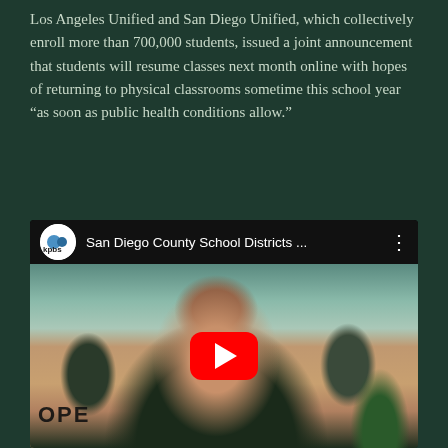Los Angeles Unified and San Diego Unified, which collectively enroll more than 700,000 students, issued a joint announcement that students will resume classes next month online with hopes of returning to physical classrooms sometime this school year “as soon as public health conditions allow.”
[Figure (screenshot): Embedded YouTube video thumbnail showing KPBS logo and title 'San Diego County School Districts ...' with a woman being interviewed in an office setting. A red YouTube play button is overlaid in the center.]